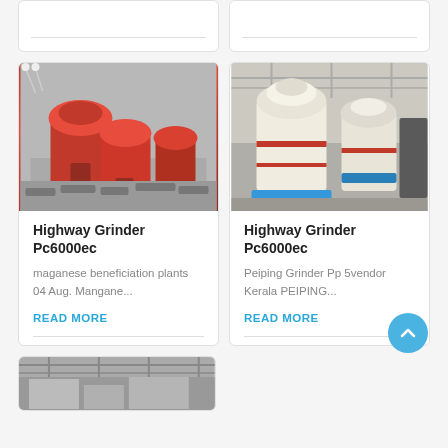[Figure (photo): Partial top card left — orange industrial grinder machine, cropped/partial view]
[Figure (photo): Partial top card right — white industrial mill machine, cropped/partial view]
[Figure (photo): Orange Highway Grinder Pc6000ec machines lined up outdoors]
Highway Grinder Pc6000ec
maganese beneficiation plants 04 Aug. Mangane...
READ MORE
[Figure (photo): White Highway Grinder Pc6000ec machines inside a factory/warehouse]
Highway Grinder Pc6000ec
Peiping Grinder Pp 5vendor Kerala PEIPING...
READ MORE
[Figure (photo): Partial bottom card — industrial machine/structure, partially visible at bottom of page]